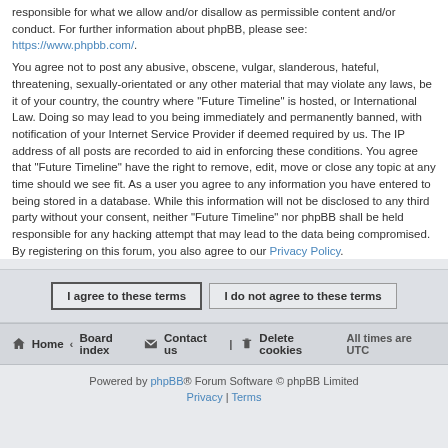responsible for what we allow and/or disallow as permissible content and/or conduct. For further information about phpBB, please see: https://www.phpbb.com/.
You agree not to post any abusive, obscene, vulgar, slanderous, hateful, threatening, sexually-orientated or any other material that may violate any laws, be it of your country, the country where “Future Timeline” is hosted, or International Law. Doing so may lead to you being immediately and permanently banned, with notification of your Internet Service Provider if deemed required by us. The IP address of all posts are recorded to aid in enforcing these conditions. You agree that “Future Timeline” have the right to remove, edit, move or close any topic at any time should we see fit. As a user you agree to any information you have entered to being stored in a database. While this information will not be disclosed to any third party without your consent, neither “Future Timeline” nor phpBB shall be held responsible for any hacking attempt that may lead to the data being compromised. By registering on this forum, you also agree to our Privacy Policy.
I agree to these terms | I do not agree to these terms
Home ‹ Board index | Contact us | Delete cookies | All times are UTC
Powered by phpBB® Forum Software © phpBB Limited | Privacy | Terms